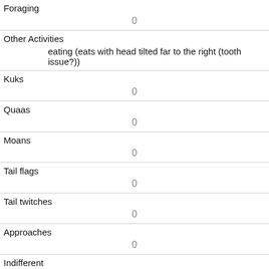| Field | Value |
| --- | --- |
| Foraging | 0 |
| Other Activities | eating (eats with head tilted far to the right (tooth issue?)) |
| Kuks | 0 |
| Quaas | 0 |
| Moans | 0 |
| Tail flags | 0 |
| Tail twitches | 0 |
| Approaches | 0 |
| Indifferent | 0 |
| Runs from | 0 |